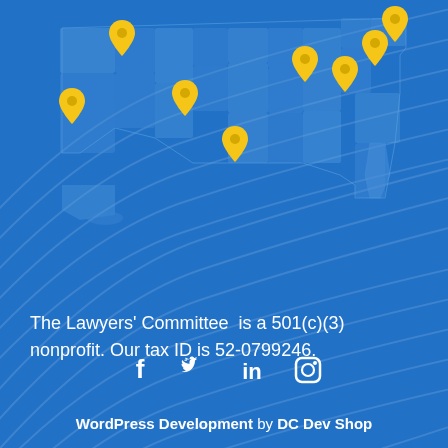[Figure (map): US map with blue shaded states and yellow location pin markers at approximately 8 locations across the country]
The Lawyers' Committee  is a 501(c)(3) nonprofit. Our tax ID is 52-0799246.
[Figure (other): Social media icons: Facebook, Twitter, LinkedIn, Instagram]
WordPress Development by DC Dev Shop